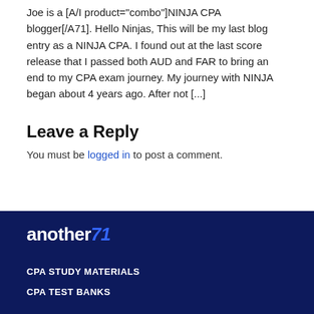Joe is a [A/I product="combo"]NINJA CPA blogger[/A71]. Hello Ninjas, This will be my last blog entry as a NINJA CPA. I found out at the last score release that I passed both AUD and FAR to bring an end to my CPA exam journey. My journey with NINJA began about 4 years ago. After not [...]
Leave a Reply
You must be logged in to post a comment.
[Figure (logo): another71 logo in white text with blue slash/71 mark on dark navy background]
CPA STUDY MATERIALS
CPA TEST BANKS